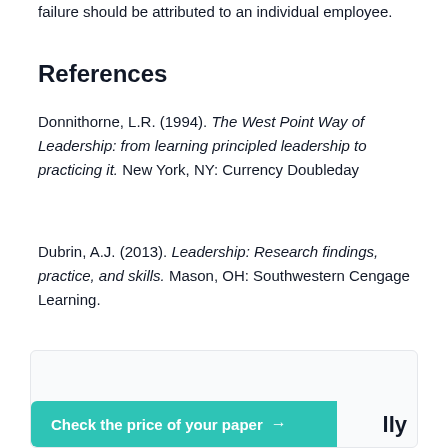failure should be attributed to an individual employee.
References
Donnithorne, L.R. (1994). The West Point Way of Leadership: from learning principled leadership to practicing it. New York, NY: Currency Doubleday
Dubrin, A.J. (2013). Leadership: Research findings, practice, and skills. Mason, OH: Southwestern Cengage Learning.
[Figure (other): Advertisement box with text 'We will write a custom' and a teal button 'Check the price of your paper →' with partial text 'lly' visible on the right]